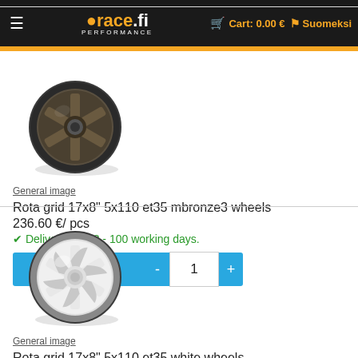orace.fi PERFORMANCE | Cart: 0.00 € | Suomeksi
[Figure (photo): Dark bronze/dark metallic 6-spoke alloy wheel (Rota Grid) on white background]
General image
Rota grid 17x8" 5x110 et35 mbronze3 wheels
236.60 €/ pcs
✔ Delivery time 3 - 100 working days.
[Figure (photo): White 6-spoke alloy wheel (Rota Grid) on white background]
General image
Rota grid 17x8" 5x110 et35 white wheels
236.60 €/ pcs
✔ Delivery time 3 - 100 working days.